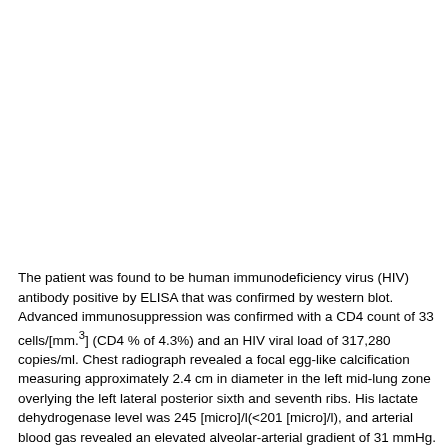The patient was found to be human immunodeficiency virus (HIV) antibody positive by ELISA that was confirmed by western blot. Advanced immunosuppression was confirmed with a CD4 count of 33 cells/[mm.sup.3] (CD4 % of 4.3%) and an HIV viral load of 317,280 copies/ml. Chest radiograph revealed a focal egg-like calcification measuring approximately 2.4 cm in diameter in the left mid-lung zone overlying the left lateral posterior sixth and seventh ribs. His lactate dehydrogenase level was 245 [micro]/l(<201 [micro]/l), and arterial blood gas revealed an elevated alveolar-arterial gradient of 31 mmHg. He underwent a bronchoscopy on the second hospital day, and smear for Pneumocystis jiroveci pneumonia was positive. Several days into the hospital course, despite treatment for the pneumonia, he was still febrile, and his blood cultures were reported positive with encapsulated budding